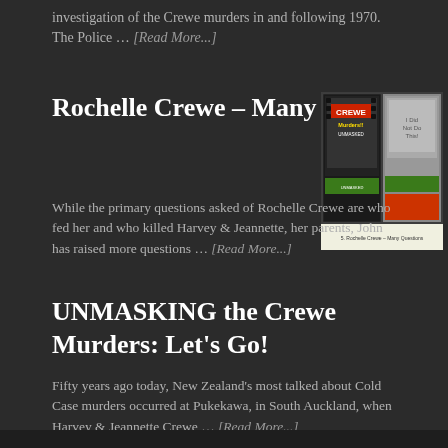investigation of the Crewe murders in and following 1970. The Police … [Read More...]
Rochelle Crewe – Many Questions
[Figure (photo): Book covers for Crewe Murders Unmasked and another related book, with caption '5. Rochelle Crewe – Many Questions']
While the primary questions asked of Rochelle Crewe are who fed her and who killed Harvey & Jeannette, her parents, John has raised more questions … [Read More...]
UNMASKING the Crewe Murders: Let's Go!
Fifty years ago today, New Zealand's most talked about Cold Case murders occurred at Pukekawa, in South Auckland, when Harvey & Jeannette Crewe … [Read More...]